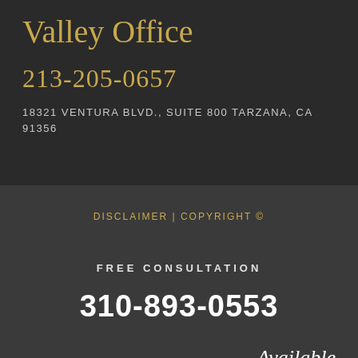Valley Office
213-205-0657
18321 VENTURA BLVD., SUITE 800 TARZANA, CA 91356
DISCLAIMER | COPYRIGHT ©
FREE CONSULTATION
310-893-0553
Available
24/7